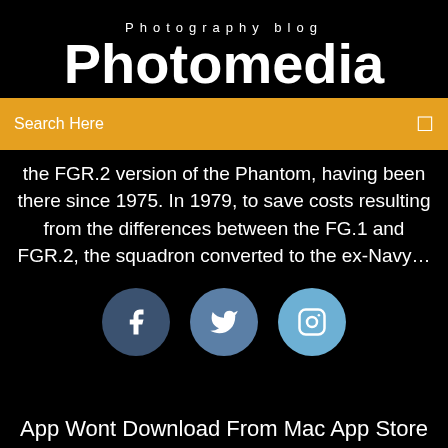Photography blog
Photomedia
Search Here
the FGR.2 version of the Phantom, having been there since 1975. In 1979, to save costs resulting from the differences between the FG.1 and FGR.2, the squadron converted to the ex-Navy...
[Figure (infographic): Three social media icon circles: Facebook (dark blue), Twitter (medium blue), Instagram (light blue)]
App Wont Download From Mac App Store